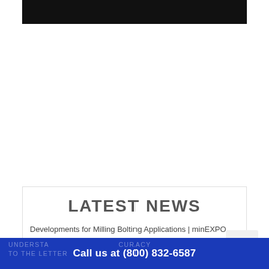[Figure (photo): Black banner image at top of page]
LATEST NEWS
Developments for Milling Bolting Applications | minEXPO 2021
Call us at (800) 832-6587
UNDERSTANDING ACCURACY TO THE LETTER